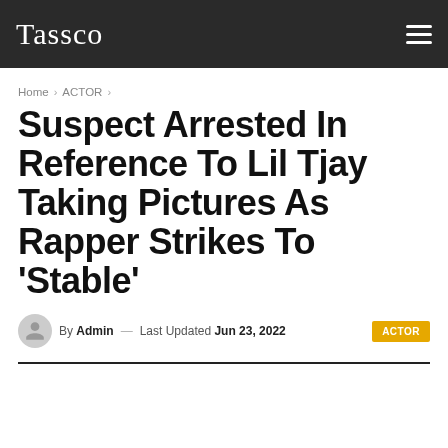Tassco
Home › ACTOR ›
Suspect Arrested In Reference To Lil Tjay Taking Pictures As Rapper Strikes To 'Stable'
By Admin — Last Updated Jun 23, 2022  ACTOR